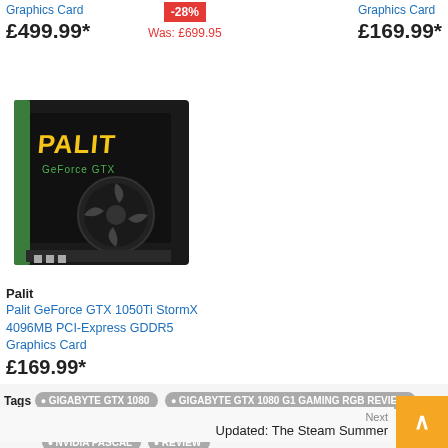Graphics Card
£499.99*
-28%
Was: £699.95
Graphics Card
£169.99*
[Figure (photo): Palit GeForce GTX 1050Ti StormX graphics card product box]
Palit
Palit GeForce GTX 1050Ti StormX 4096MB PCI-Express GDDR5 Graphics Card
£169.99*
GIGABYTE GTX 1080
GIGABYTE GTX 1080 G1 GAMING RGB REVIEW
GIGABYTE GTX1080
NVIDIA GTX 1080
NVIDIA GTX1080
NVIDIA PASCAL
REVIEW
Previous
Microsoft will ship games on Steam again eventually
Next
Updated: The Steam Summer